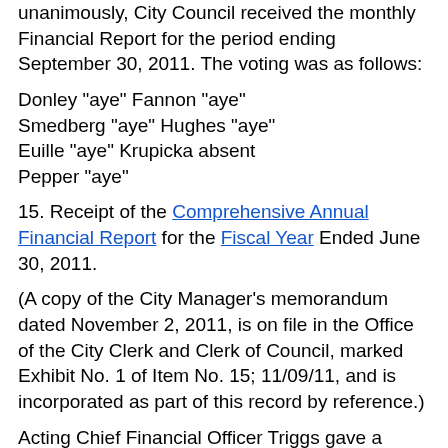unanimously, City Council received the monthly Financial Report for the period ending September 30, 2011. The voting was as follows:
Donley "aye" Fannon "aye"
Smedberg "aye" Hughes "aye"
Euille "aye" Krupicka absent
Pepper "aye"
15. Receipt of the Comprehensive Annual Financial Report for the Fiscal Year Ended June 30, 2011.
(A copy of the City Manager's memorandum dated November 2, 2011, is on file in the Office of the City Clerk and Clerk of Council, marked Exhibit No. 1 of Item No. 15; 11/09/11, and is incorporated as part of this record by reference.)
Acting Chief Financial Officer Triggs gave a review of the Comprehensive Annual Financial Report and responded to questions from Council.
WHEREUPON, upon motion by Councilwoman